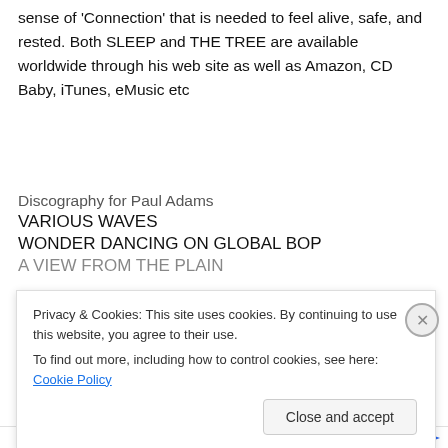sense of 'Connection' that is needed to feel alive, safe, and rested. Both SLEEP and THE TREE are available worldwide through his web site as well as Amazon, CD Baby, iTunes, eMusic etc
Discography for Paul Adams
VARIOUS WAVES
WONDER DANCING ON GLOBAL BOP
A VIEW FROM THE PLAIN
Privacy & Cookies: This site uses cookies. By continuing to use this website, you agree to their use.
To find out more, including how to control cookies, see here: Cookie Policy
Close and accept